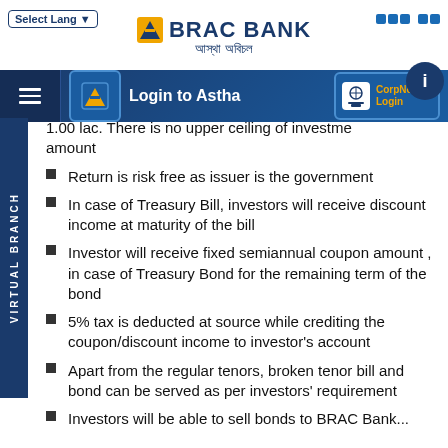[Figure (logo): BRAC Bank logo with Bengali tagline and navigation bar showing Login to Astha and CorpNet Login]
1.00 lac. There is no upper ceiling of investment amount
Return is risk free as issuer is the government
In case of Treasury Bill, investors will receive discount income at maturity of the bill
Investor will receive fixed semiannual coupon amount , in case of Treasury Bond for the remaining term of the bond
5% tax is deducted at source while crediting the coupon/discount income to investor's account
Apart from the regular tenors, broken tenor bill and bond can be served as per investors' requirement
Investors will be able to sell bonds to BRAC Bank...